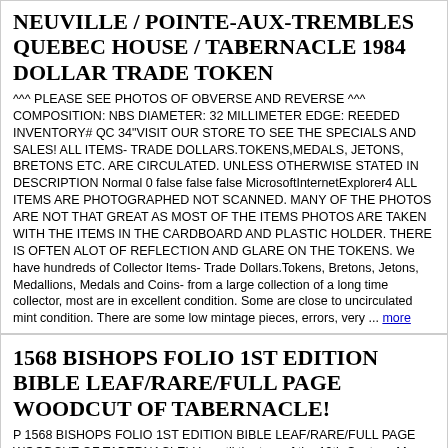NEUVILLE / POINTE-AUX-TREMBLES QUEBEC HOUSE / TABERNACLE 1984 DOLLAR TRADE TOKEN
^^^ PLEASE SEE PHOTOS OF OBVERSE AND REVERSE ^^^ COMPOSITION: NBS DIAMETER: 32 MILLIMETER EDGE: REEDED INVENTORY# QC 34"VISIT OUR STORE TO SEE THE SPECIALS AND SALES! ALL ITEMS- TRADE DOLLARS.TOKENS,MEDALS, JETONS, BRETONS ETC. ARE CIRCULATED. UNLESS OTHERWISE STATED IN DESCRIPTION Normal 0 false false false MicrosoftInternetExplorer4 ALL ITEMS ARE PHOTOGRAPHED NOT SCANNED. MANY OF THE PHOTOS ARE NOT THAT GREAT AS MOST OF THE ITEMS PHOTOS ARE TAKEN WITH THE ITEMS IN THE CARDBOARD AND PLASTIC HOLDER. THERE IS OFTEN ALOT OF REFLECTION AND GLARE ON THE TOKENS. We have hundreds of Collector Items- Trade Dollars.Tokens, Bretons, Jetons, Medallions, Medals and Coins- from a large collection of a long time collector, most are in excellent condition. Some are close to uncirculated mint condition. There are some low mintage pieces, errors, very ... more
1568 BISHOPS FOLIO 1ST EDITION BIBLE LEAF/RARE/FULL PAGE WOODCUT OF TABERNACLE!
P 1568 BISHOPS FOLIO 1ST EDITION BIBLE LEAF/RARE/FULL PAGE WOODCUT OF TABERNACLE! Up until the turn of the 19th Century. Men went around in horse drawn carts collecting bones and rags(cloth) The bones were used to make glue and the rags(cloth) were used to make pages much as wood pulp is used today. They earned the nick-name"rag and bone men" These leaves can actually be ironed(carefully) This is a RARE offering for an authentic Hand Colored Bible Leaf from the FIRST EDITION Bishops Bible printed by R. Jugg...